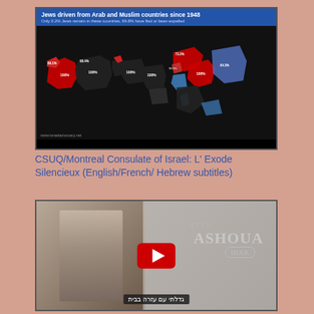[Figure (map): Map titled 'Jews driven from Arab and Muslim countries since 1948'. Subtitle: 'Only 0.2% Jews remain in these countries, 99.8% have fled or been expelled'. Shows Middle East and North Africa with countries colored red (expelled majority), black (100% expelled), and blue (Israel area). Percentages labeled on each country. Source: www.israeladvocacy.net]
CSUQ/Montreal Consulate of Israel: L' Exode Silencieux (English/French/ Hebrew subtitles)
[Figure (screenshot): YouTube video thumbnail for 'L'Exode Silencieux' (The Silent Exodus). Shows a black-and-white portrait photo of a young woman, overlaid with text 'ASHOUA' and 'IRAK', a YouTube play button, and Hebrew subtitle text at the bottom. The video relates to Jewish refugees from Iraq.]